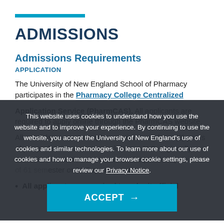ADMISSIONS
Admissions Requirements
APPLICATION
The University of New England School of Pharmacy participates in the Pharmacy College Centralized Application Service (PharmCAS). All applicants are required to apply online through the PharmCAS website.
All candidates must complete a minimum of two (2) years of pre-professional coursework from a U.S. regionally accredited institution or international equivalent (minimum of 61 semester or 91.5 quarter credits).
This website uses cookies to understand how you use the website and to improve your experience. By continuing to use the website, you accept the University of New England's use of cookies and similar technologies. To learn more about our use of cookies and how to manage your browser cookie settings, please review our Privacy Notice.
All applicants are required to submit official